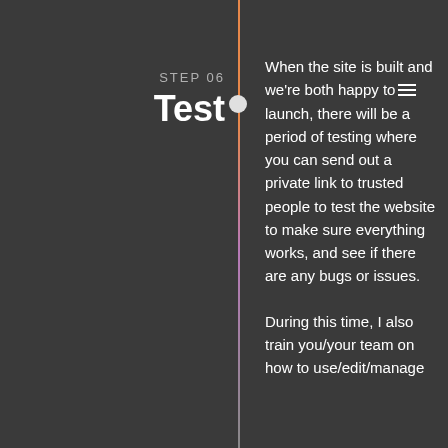STEP 06
Test
When the site is built and we're both happy to launch, there will be a period of testing where you can send out a private link to trusted people to test the website to make sure everything works, and see if there are any bugs or issues.
During this time, I also train you/your team on how to use/edit/manage